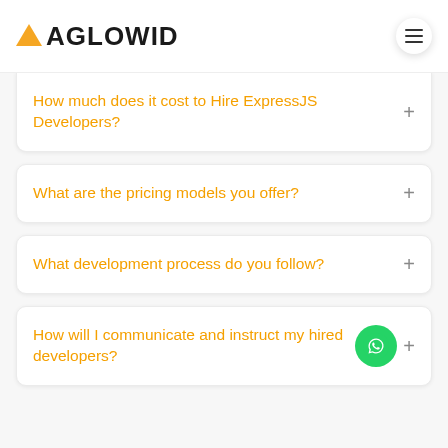AGLOWID
How much does it cost to Hire ExpressJS Developers?
What are the pricing models you offer?
What development process do you follow?
How will I communicate and instruct my hired developers?